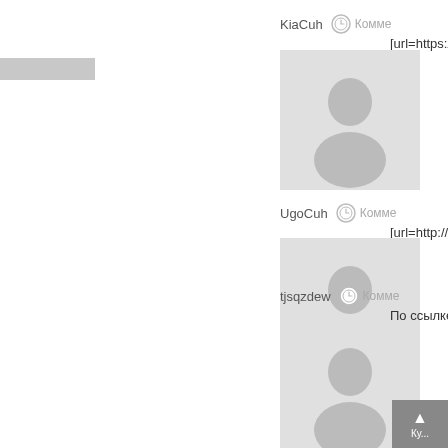KiaCuh
Комме...
[url=https://d...
[Figure (illustration): Default avatar placeholder - silhouette of person on gray background]
UgoCuh
Комме...
[url=http://iv...
[Figure (illustration): Default avatar placeholder - silhouette of person on gray background]
tjsqzdew
Комме...
По ссылке b...
[Figure (illustration): Default avatar placeholder - silhouette of person on gray background]
Josephblimb
Комме...
□□□□□
[Figure (illustration): Default avatar placeholder - silhouette of person on gray background]
MarkCuh
Ку...